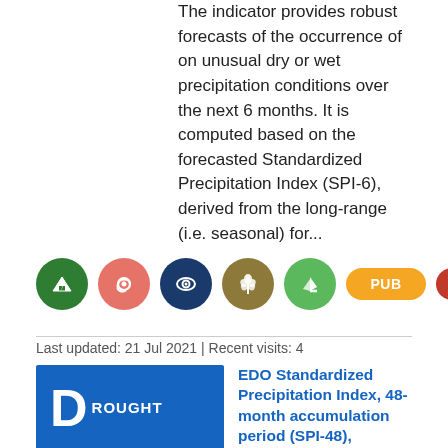The indicator provides robust forecasts of the occurrence of on unusual dry or wet precipitation conditions over the next 6 months. It is computed based on the forecasted Standardized Precipitation Index (SPI-6), derived from the long-range (i.e. seasonal) for...
[Figure (infographic): Row of five colored icon circles (green arrow, red/pink email, dark blue eye/globe, olive/brown wheat, green sailing/leaf) followed on the right by three pill-shaped buttons: PUB (orange), DWN (red), GEO (grey-blue)]
Last updated: 21 Jul 2021 | Recent visits: 4
EDO Standardized Precipitation Index, 48-month accumulation period (SPI-48), blended and interpolated (version 1.2.0)
The 48-month Standardized Precipitation Index (SPI-48) b...